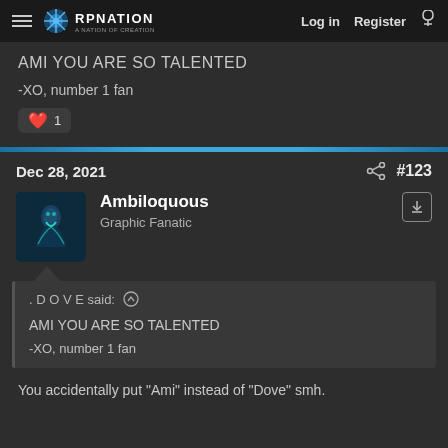RP NATION — Log in  Register
AMI YOU ARE SO TALENTED
-XO, number 1 fan
❤ 1
Dec 28, 2021  #123
Ambiloquous
Graphic Fanatic
. D O V E said: ↑

AMI YOU ARE SO TALENTED

-XO, number 1 fan
You accidentally put "Ami" instead of "Dove" smh.